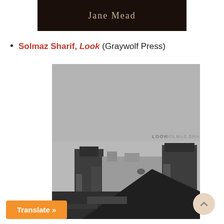[Figure (photo): Top portion of a book cover with dark brown/black background and author name 'Jane Mead' in serif font]
Solmaz Sharif, Look (Graywolf Press)
[Figure (photo): Book cover of 'Look' by Solmaz Sharif (Graywolf Press). Gray background with text 'LOOK / SOLMAZ SHARIF' and a black and white historical photograph showing stone structures or ruins]
Translate »